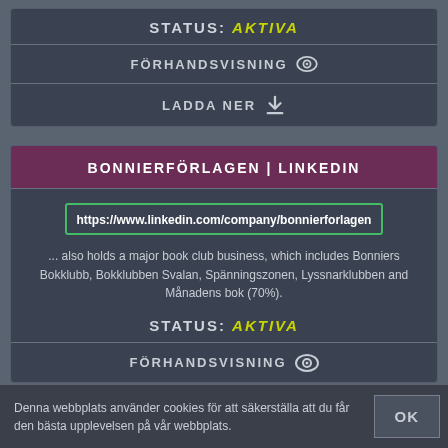STATUS: AKTIVA
FÖRHANDSVISNING
LADDA NER
BONNIERFÖRLAGEN | LINKEDIN
https://www.linkedin.com/company/bonnierforlagen
... also holds a major book club business, which includes Bonniers Bokklubb, Bokklubben Svalan, Spänningszonen, Lyssnarklubben and Månadens bok (70%).
STATUS: AKTIVA
FÖRHANDSVISNING
Denna webbplats använder cookies för att säkerställa att du får den bästa upplevelsen på vår webbplats.